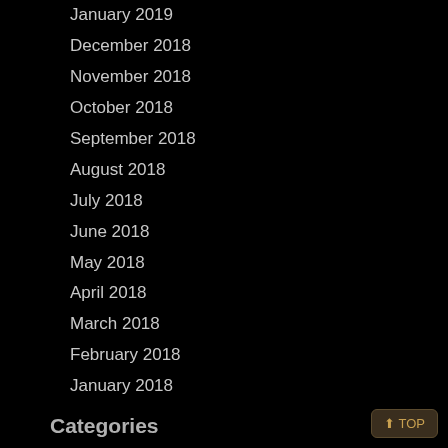January 2019
December 2018
November 2018
October 2018
September 2018
August 2018
July 2018
June 2018
May 2018
April 2018
March 2018
February 2018
January 2018
Categories
-330'
10'ft1000'ft